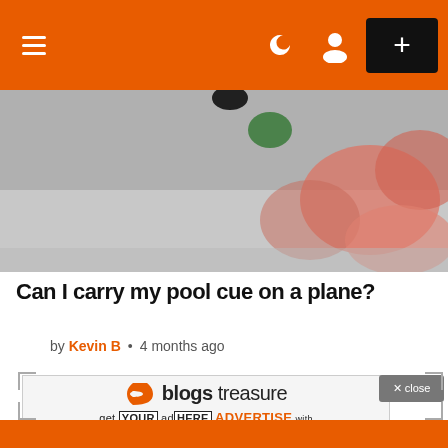[Figure (screenshot): Orange navigation bar with hamburger menu on left, moon icon, user icon, and black plus button on right]
[Figure (photo): Close-up photo of billiard/pool balls on a table, blurred bokeh background with orange tones]
Can I carry my pool cue on a plane?
by Kevin B • 4 months ago
[Figure (logo): Blogs Treasure advertisement with logo and 'get YOUR ad HERE ADVERTISE with US' text]
[Figure (screenshot): X close button in gray]